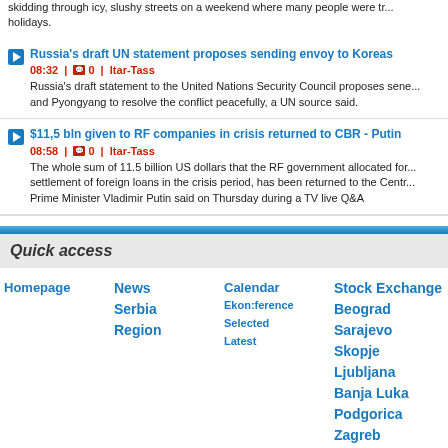skidding through icy, slushy streets on a weekend where many people were tr... holidays.
Russia's draft UN statement proposes sending envoy to Koreas
08:32 | 0 | Itar-Tass
Russia's draft statement to the United Nations Security Council proposes sene... and Pyongyang to resolve the conflict peacefully, a UN source said.
$11,5 bln given to RF companies in crisis returned to CBR - Putin
08:58 | 0 | Itar-Tass
The whole sum of 11.5 billion US dollars that the RF government allocated for... settlement of foreign loans in the crisis period, has been returned to the Centr... Prime Minister Vladimir Putin said on Thursday during a TV live Q&A
Quick access
Homepage
News
Serbia
Region
Calendar
Ekon:ference
Selected
Latest
Stock Exchange
Beograd
Sarajevo
Skopje
Ljubljana
Banja Luka
Podgorica
Zagreb